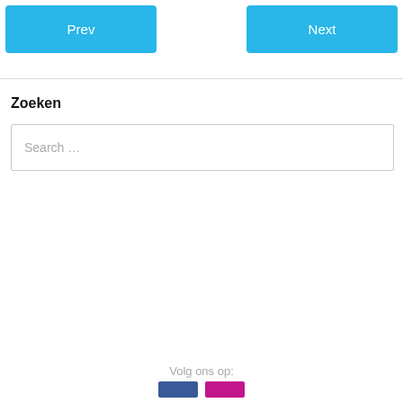[Figure (screenshot): Navigation buttons: 'Prev' on the left and 'Next' on the right, both styled as sky-blue rounded rectangles with white text.]
Zoeken
[Figure (screenshot): Search input box with placeholder text 'Search ...']
Volg ons op:
[Figure (screenshot): Two social media icon rectangles: one blue (Facebook) and one magenta/pink.]